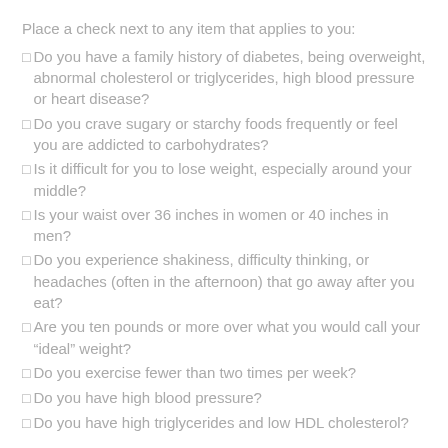Place a check next to any item that applies to you:
Do you have a family history of diabetes, being overweight, abnormal cholesterol or triglycerides, high blood pressure or heart disease?
Do you crave sugary or starchy foods frequently or feel you are addicted to carbohydrates?
Is it difficult for you to lose weight, especially around your middle?
Is your waist over 36 inches in women or 40 inches in men?
Do you experience shakiness, difficulty thinking, or headaches (often in the afternoon) that go away after you eat?
Are you ten pounds or more over what you would call your “ideal” weight?
Do you exercise fewer than two times per week?
Do you have high blood pressure?
Do you have high triglycerides and low HDL cholesterol?